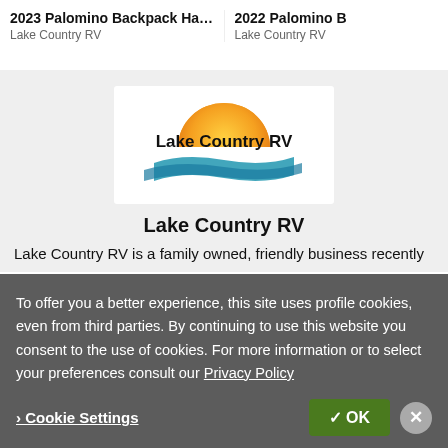2023 Palomino Backpack Hard Si...
Lake Country RV
2022 Palomino B
Lake Country RV
[Figure (logo): Lake Country RV logo with orange and gold sunset design and blue wave swoosh]
Lake Country RV
Lake Country RV is a family owned, friendly business recently
To offer you a better experience, this site uses profile cookies, even from third parties. By continuing to use this website you consent to the use of cookies. For more information or to select your preferences consult our Privacy Policy
Cookie Settings  ✓ OK  ✕